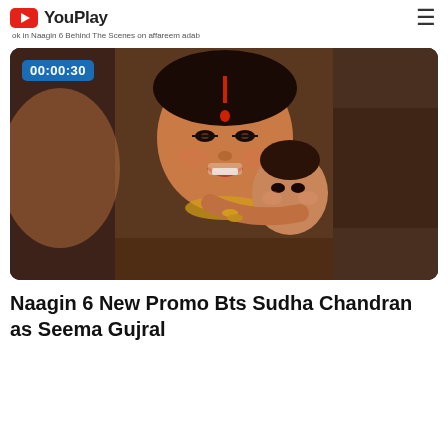YouPlay
ok in Naagin 6 Behind The Scenes on affareem adab
[Figure (screenshot): Video thumbnail showing a woman in traditional Indian attire with red sindoor, heavy makeup and gold jewellery, holding a baby. Timestamp badge reads 00:00:30.]
Naagin 6 New Promo Bts Sudha Chandran as Seema Gujral